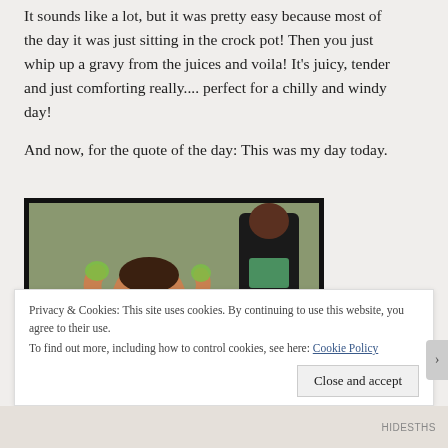It sounds like a lot, but it was pretty easy because most of the day it was just sitting in the crock pot! Then you just whip up a gravy from the juices and voila! It's juicy, tender and just comforting really.... perfect for a chilly and windy day!
And now, for the quote of the day: This was my day today.
[Figure (photo): A baby with green food on its face and hands, sitting in a high chair; an adult figure visible in background.]
Privacy & Cookies: This site uses cookies. By continuing to use this website, you agree to their use.
To find out more, including how to control cookies, see here: Cookie Policy
Close and accept